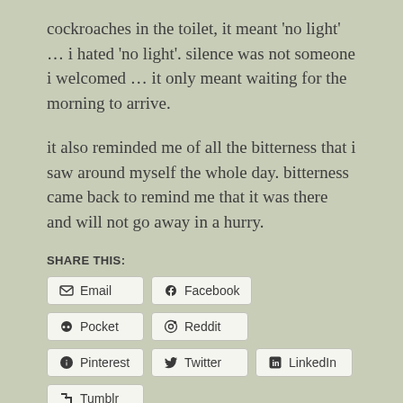cockroaches in the toilet, it meant 'no light' ... i hated 'no light'. silence was not someone i welcomed ... it only meant waiting for the morning to arrive.
it also reminded me of all the bitterness that i saw around myself the whole day. bitterness came back to remind me that it was there and will not go away in a hurry.
SHARE THIS:
Email
Facebook
Pocket
Reddit
Pinterest
Twitter
LinkedIn
Tumblr
Print